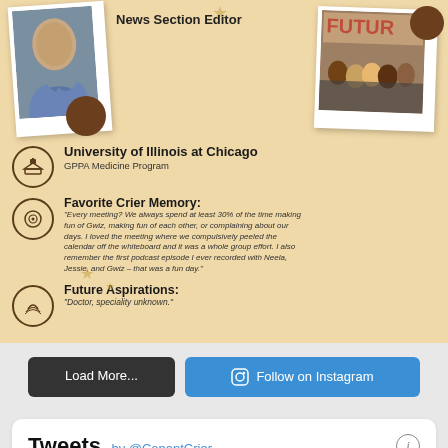[Figure (photo): Person in blue dress seated, Polaroid-style photo]
News Section Editor
[Figure (photo): Group photo of students in front of FUTURE sign, Polaroid-style]
University of Illinois at Chicago
GPPA Medicine Program
Favorite Crier Memory:
"Every meeting? We always spend at least 30% of the time making fun of Gwiz, making fun of each other, or complaining about our days. I loved the meeting where we compulsively peeled the calendar off the whiteboard and it was a whole group effort. I also remember the first podcast episode I ever recorded with Neela, Jessie, and Gwiz – that was a fun day."
Future Aspirations:
"Doctor, speciality unknown."
Load More...
Follow on Instagram
Tweets by @ConantCrier